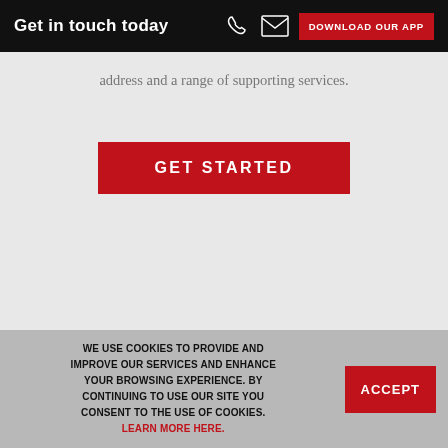Get in touch today | DOWNLOAD OUR APP
address and a range of supporting services.
GET STARTED
WHAT DOES A REGUS
WE USE COOKIES TO PROVIDE AND IMPROVE OUR SERVICES AND ENHANCE YOUR BROWSING EXPERIENCE. BY CONTINUING TO USE OUR SITE YOU CONSENT TO THE USE OF COOKIES. LEARN MORE HERE.
ACCEPT